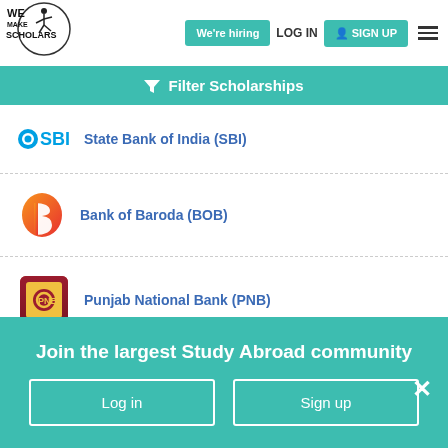[Figure (logo): We Make Scholars logo — stick figure and circular emblem with text WE MAKE SCHOLARS]
We're hiring  LOG IN  SIGN UP
Filter Scholarships
State Bank of India (SBI)
Bank of Baroda (BOB)
Punjab National Bank (PNB)
Apply for abroad education loan without collateral
Join the largest Study Abroad community
Log in   Sign up